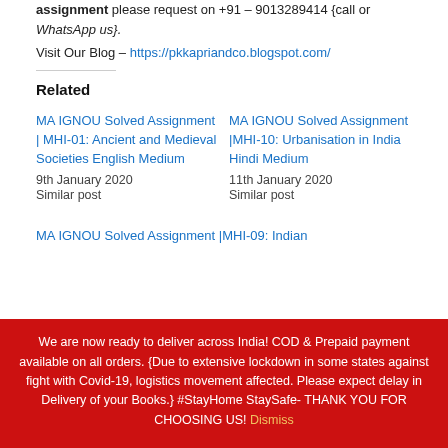assignment please request on +91 – 9013289414 {call or WhatsApp us}.
Visit Our Blog – https://pkkapriandco.blogspot.com/
Related
MA IGNOU Solved Assignment | MHI-01: Ancient and Medieval Societies English Medium
9th January 2020
Similar post
MA IGNOU Solved Assignment |MHI-10: Urbanisation in India Hindi Medium
11th January 2020
Similar post
MA IGNOU Solved Assignment |MHI-09: Indian
We are now ready to deliver across India! COD & Prepaid payment available on all orders. {Due to extensive lockdown in some states against fight with Covid-19, logistics movement affected. Please expect delay in Delivery of your Books.} #StayHome StaySafe- THANK YOU FOR CHOOSING US! Dismiss